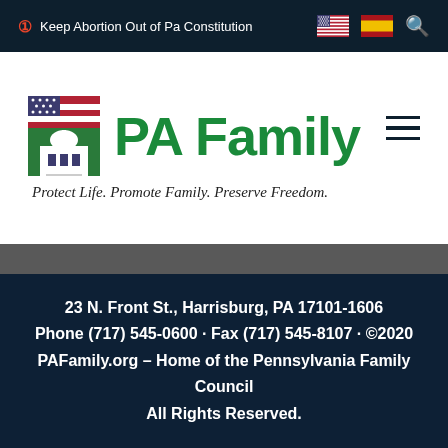Keep Abortion Out of Pa Constitution
[Figure (logo): PA Family logo with US flag-themed building icon and green 'PA Family' text. Tagline: Protect Life. Promote Family. Preserve Freedom.]
23 N. Front St., Harrisburg, PA 17101-1606 Phone (717) 545-0600 · Fax (717) 545-8107 · ©2020 PAFamily.org – Home of the Pennsylvania Family Council All Rights Reserved.